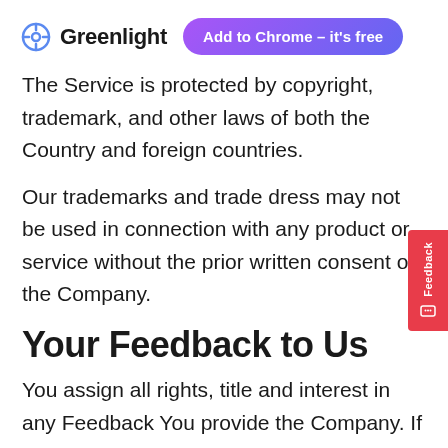[Figure (logo): Greenlight logo with compass icon and 'Add to Chrome – it's free' button with purple gradient]
The Service is protected by copyright, trademark, and other laws of both the Country and foreign countries.
Our trademarks and trade dress may not be used in connection with any product or service without the prior written consent of the Company.
Your Feedback to Us
You assign all rights, title and interest in any Feedback You provide the Company. If for any